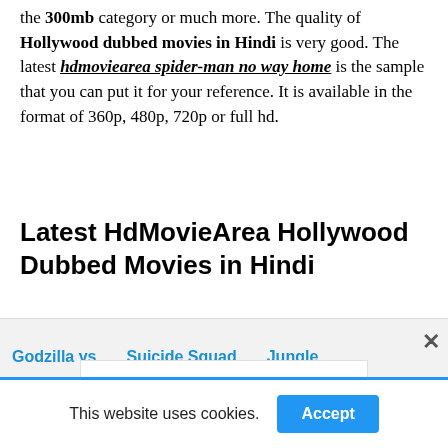Here you can download Hollywood movies in the 300mb category or much more. The quality of Hollywood dubbed movies in Hindi is very good. The latest hdmoviearea spider-man no way home is the sample that you can put it for your reference. It is available in the format of 360p, 480p, 720p or full hd.
Latest HdMovieArea Hollywood Dubbed Movies in Hindi
Godzilla vs   Suicide Squad   Jungle
Get Started Today at AIM
This website uses cookies.